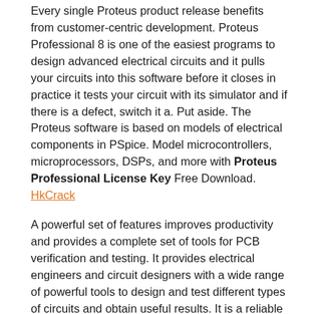Every single Proteus product release benefits from customer-centric development. Proteus Professional 8 is one of the easiest programs to design advanced electrical circuits and it pulls your circuits into this software before it closes in practice it tests your circuit with its simulator and if there is a defect, switch it a. Put aside. The Proteus software is based on models of electrical components in PSpice. Model microcontrollers, microprocessors, DSPs, and more with Proteus Professional License Key Free Download. HkCrack
A powerful set of features improves productivity and provides a complete set of tools for PCB verification and testing. It provides electrical engineers and circuit designers with a wide range of powerful tools to design and test different types of circuits and obtain useful results. It is a reliable application with self-explanatory tools and options that allows you to work with PCB footprints. Provides schematic capture and a variety of tools to enter your results. Search and test circuits.